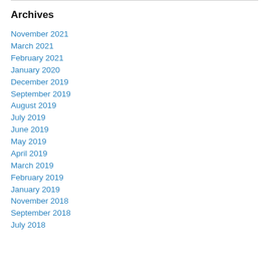Archives
November 2021
March 2021
February 2021
January 2020
December 2019
September 2019
August 2019
July 2019
June 2019
May 2019
April 2019
March 2019
February 2019
January 2019
November 2018
September 2018
July 2018